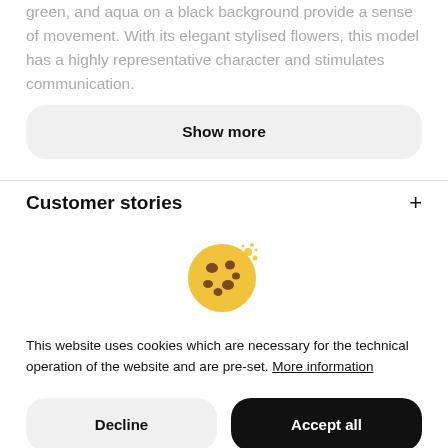green, and aqua on a black background provide a sense of movement. With its elegant stylised flowers, this model has a highly representative character and stimulates communication.
Show more
Customer stories
[Figure (illustration): Cookie emoji illustration — a round chocolate chip cookie with crumbs]
This website uses cookies which are necessary for the technical operation of the website and are pre-set. More information
Decline
Accept all
Configure